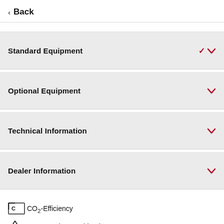< Back
Standard Equipment
Optional Equipment
Technical Information
Dealer Information
CO₂-Efficiency
Consumption combined
Electrical consumption combined
Carbon dioxide emissions